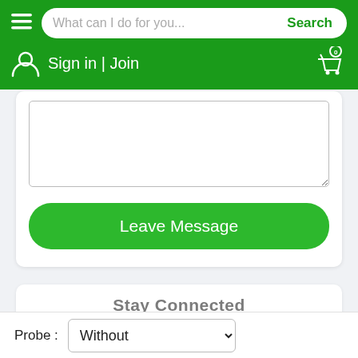[Figure (screenshot): Green navigation header bar with hamburger menu, search box showing placeholder 'What can I do for you...' with green Search button, and below it a user icon with 'Sign in | Join' text and a shopping cart icon with badge showing 0]
[Figure (screenshot): White card with a textarea input field and a green rounded 'Leave Message' button]
[Figure (screenshot): Partial white card at bottom of content area showing beginning of a title text]
Probe :
[Figure (screenshot): Dropdown select element showing 'Without' with a chevron/arrow indicator]